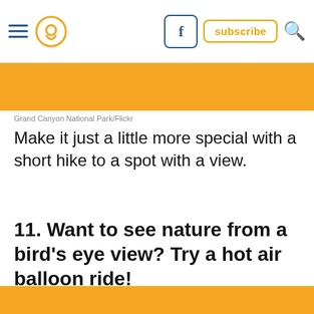Navigation bar with hamburger menu, pin/location icon, Facebook button, subscribe button, search icon
[Figure (other): Orange banner image placeholder at top]
Grand Canyon National Park/Flickr
Make it just a little more special with a short hike to a spot with a view.
11. Want to see nature from a bird’s eye view? Try a hot air balloon ride!
[Figure (other): Orange banner/advertisement area at bottom with X close button and peach background below]